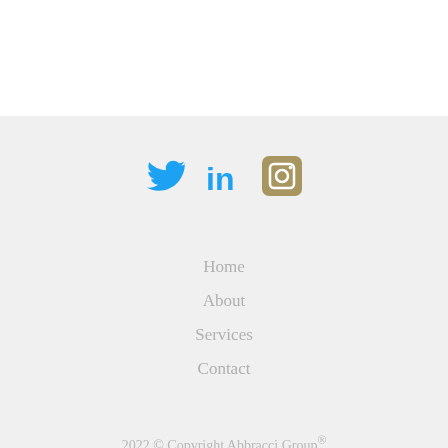[Figure (other): Social media icons: Twitter (blue bird), LinkedIn (blue 'in'), Instagram (gold camera icon)]
Home
About
Services
Contact
2022 © Copyright Abbracci Group®